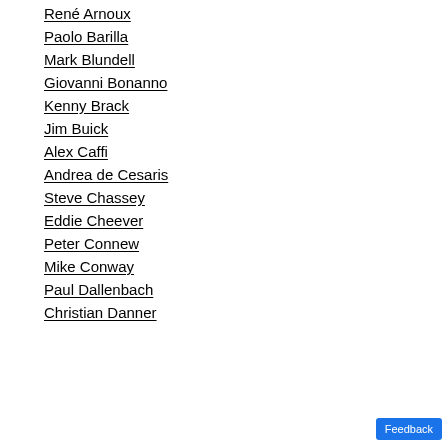René Arnoux
Paolo Barilla
Mark Blundell
Giovanni Bonanno
Kenny Brack
Jim Buick
Alex Caffi
Andrea de Cesaris
Steve Chassey
Eddie Cheever
Peter Connew
Mike Conway
Paul Dallenbach
Christian Danner